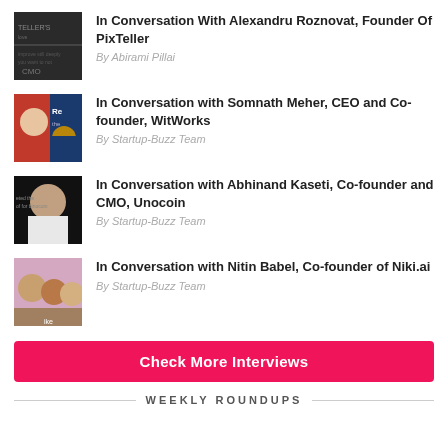In Conversation With Alexandru Roznovat, Founder Of PixTeller
By Abirami Pillai
In Conversation with Somnath Meher, CEO and Co-founder, WitWorks
By Startup-Buzz Team
In Conversation with Abhinand Kaseti, Co-founder and CMO, Unocoin
By Startup-Buzz Team
In Conversation with Nitin Babel, Co-founder of Niki.ai
By Startup-Buzz Team
Check More Interviews
WEEKLY ROUNDUPS